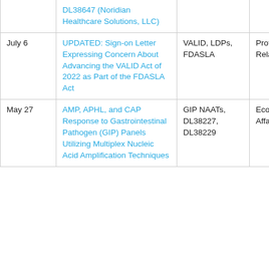| Date | Title | Topics | Committee |
| --- | --- | --- | --- |
|  | DL38647 (Noridian Healthcare Solutions, LLC) |  |  |
| July 6 | UPDATED: Sign-on Letter Expressing Concern About Advancing the VALID Act of 2022 as Part of the FDASLA Act | VALID, LDPs, FDASLA | Professional Relations |
| May 27 | AMP, APHL, and CAP Response to Gastrointestinal Pathogen (GIP) Panels Utilizing Multiplex Nucleic Acid Amplification Techniques | GIP NAATs, DL38227, DL38229 | Economic Affairs |